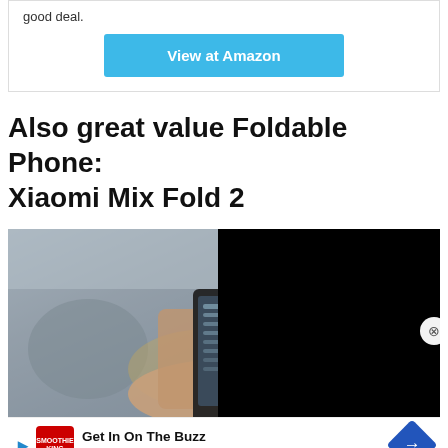good deal.
View at Amazon
Also great value Foldable Phone: Xiaomi Mix Fold 2
[Figure (photo): Person holding a foldable phone open, blurred cafe/lounge background, with black video overlay panel on right side and a close button]
[Figure (infographic): Advertisement bar: Get In On The Buzz - Smoothie King, with play button, logo, and directional arrow]